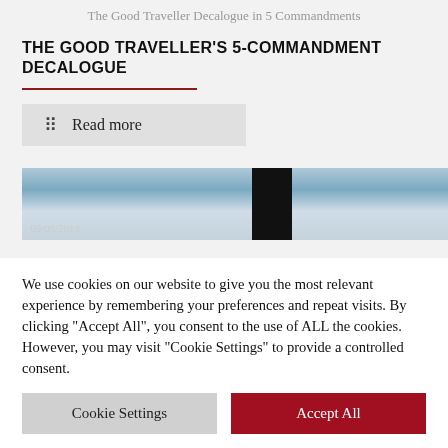The Good Traveller Decalogue in 5 Commandments
THE GOOD TRAVELLER'S 5-COMMANDMENT DECALOGUE
Read more
[Figure (photo): Partial photo of a travel scene, blue tones with a dark vertical bar. Date stamp 09/08/2019 visible.]
We use cookies on our website to give you the most relevant experience by remembering your preferences and repeat visits. By clicking "Accept All", you consent to the use of ALL the cookies. However, you may visit "Cookie Settings" to provide a controlled consent.
Cookie Settings
Accept All